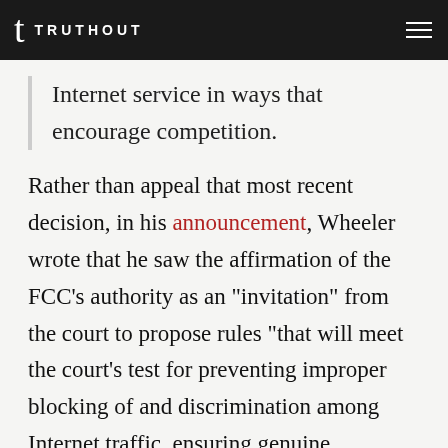TRUTHOUT
Internet service in ways that encourage competition.
Rather than appeal that most recent decision, in his announcement, Wheeler wrote that he saw the affirmation of the FCC’s authority as an “invitation” from the court to propose rules “that will meet the court’s test for preventing improper blocking of and discrimination among Internet traffic, ensuring genuine transparency in how Internet Service Providers manage